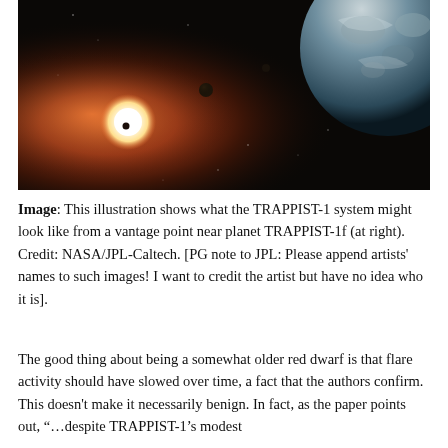[Figure (illustration): Artistic illustration of the TRAPPIST-1 planetary system as seen from near planet TRAPPIST-1f, showing the orange-red star at left with small planets transiting it, and a large rocky-icy planet in the upper right corner against a black starfield.]
Image: This illustration shows what the TRAPPIST-1 system might look like from a vantage point near planet TRAPPIST-1f (at right). Credit: NASA/JPL-Caltech. [PG note to JPL: Please append artists' names to such images! I want to credit the artist but have no idea who it is].
The good thing about being a somewhat older red dwarf is that flare activity should have slowed over time, a fact that the authors confirm. This doesn't make it necessarily benign. In fact, as the paper points out, "…despite TRAPPIST-1's modest